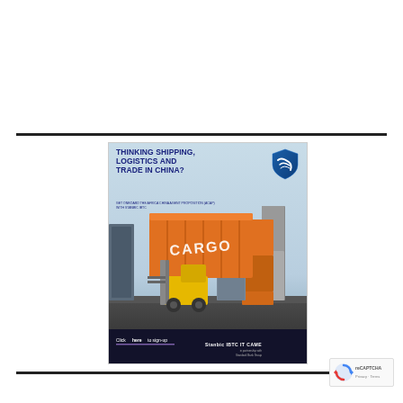[Figure (illustration): Advertisement for Standard Bank IBTC - 'Thinking Shipping, Logistics and Trade in China?' with image of yellow forklift carrying orange cargo container labeled CARGO, surrounded by stacked shipping containers. Features Standard Bank shield logo, call to action 'Click here to sign-up', and StanBic IBTC IT CAME branding at bottom.]
[Figure (logo): Google reCAPTCHA badge with rotating arrows icon, Privacy and Terms links]